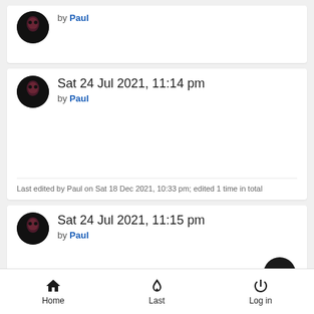by Paul
Sat 24 Jul 2021, 11:14 pm
by Paul
Last edited by Paul on Sat 18 Dec 2021, 10:33 pm; edited 1 time in total
Sat 24 Jul 2021, 11:15 pm
by Paul
Home  Last  Log in